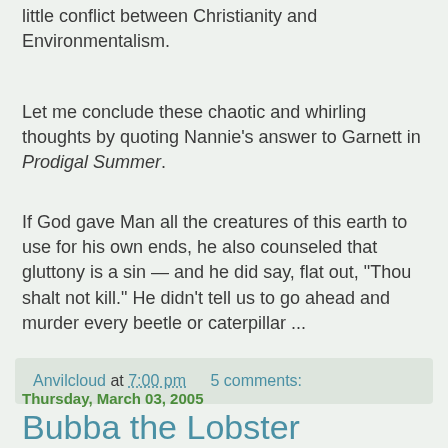little conflict between Christianity and Environmentalism.
Let me conclude these chaotic and whirling thoughts by quoting Nannie's answer to Garnett in Prodigal Summer.
If God gave Man all the creatures of this earth to use for his own ends, he also counseled that gluttony is a sin — and he did say, flat out, "Thou shalt not kill." He didn't tell us to go ahead and murder every beetle or caterpillar ...
Anvilcloud at 7:00 pm   5 comments:
Thursday, March 03, 2005
Bubba the Lobster